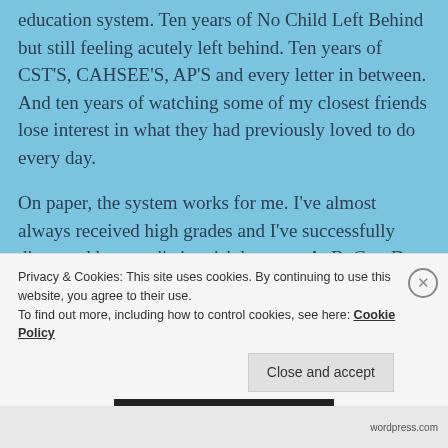education system.  Ten years of No Child Left Behind but still feeling acutely left behind.  Ten years of CST'S, CAHSEE'S, AP'S and every letter in between.  And ten years of watching some of my closest friends lose interest in what they had previously loved to do every day.
On paper, the system works for me.  I've almost always received high grades and I've successfully discerned how to distinguish between A, B, C or D.  But intelligence encompasses much more than being able to succeed on multiple choice tests, and
Privacy & Cookies: This site uses cookies. By continuing to use this website, you agree to their use.
To find out more, including how to control cookies, see here: Cookie Policy
Close and accept